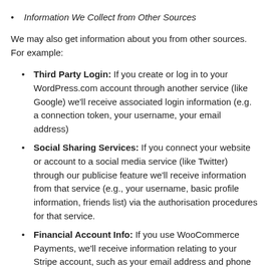Information We Collect from Other Sources
We may also get information about you from other sources. For example:
Third Party Login: If you create or log in to your WordPress.com account through another service (like Google) we'll receive associated login information (e.g. a connection token, your username, your email address)
Social Sharing Services: If you connect your website or account to a social media service (like Twitter) through our publicise feature we'll receive information from that service (e.g., your username, basic profile information, friends list) via the authorisation procedures for that service.
Financial Account Info: If you use WooCommerce Payments, we'll receive information relating to your Stripe account, such as your email address and phone